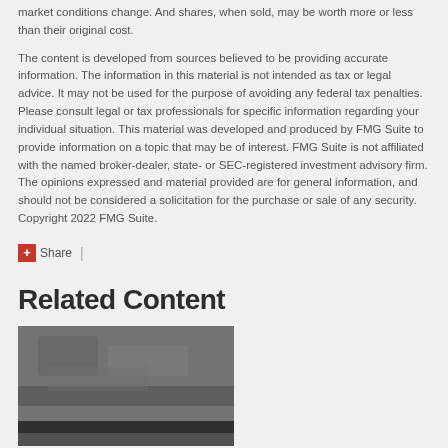market conditions change. And shares, when sold, may be worth more or less than their original cost.
The content is developed from sources believed to be providing accurate information. The information in this material is not intended as tax or legal advice. It may not be used for the purpose of avoiding any federal tax penalties. Please consult legal or tax professionals for specific information regarding your individual situation. This material was developed and produced by FMG Suite to provide information on a topic that may be of interest. FMG Suite is not affiliated with the named broker-dealer, state- or SEC-registered investment advisory firm. The opinions expressed and material provided are for general information, and should not be considered a solicitation for the purchase or sale of any security. Copyright 2022 FMG Suite.
Share |
Related Content
[Figure (photo): A blurry dark gray textured image, partially visible, with a dark horizontal bar near the bottom suggesting a physical object or surface.]